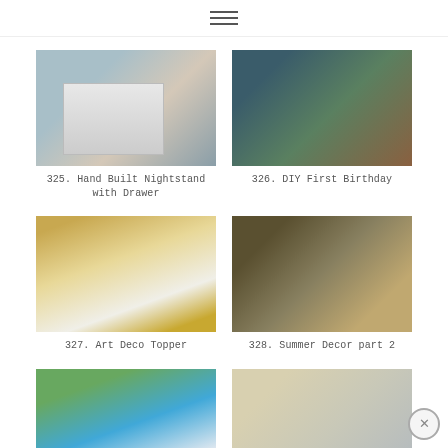≡
[Figure (photo): A hand-built white wooden nightstand with a drawer, with books and a small white vase on top, against a blue-grey wall]
325. Hand Built Nightstand with Drawer
[Figure (photo): A DIY first birthday cake styled as a tree stump with a forest scene, surrounded by green grass, vegetables, and forest animals in a bowl]
326. DIY First Birthday
[Figure (photo): A white cake topped with gold glitter Art Deco-style triangle decorations on skewers]
327. Art Deco Topper
[Figure (photo): A summer decor vignette featuring a birdcage, candle, starfish, lemons, bottles, and a wicker basket on a console table]
328. Summer Decor part 2
[Figure (photo): A colorful party scene with balloon banners, ice cream cone decorations, and festive table setting]
[Figure (photo): A craft room or kitchen setup with white cabinetry and a label reading 'Adult Snow Foods']